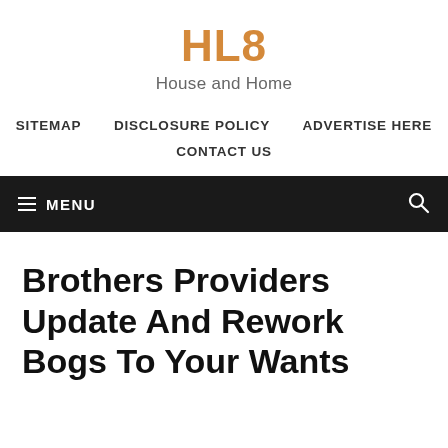HL8
House and Home
SITEMAP   DISCLOSURE POLICY   ADVERTISE HERE
CONTACT US
≡ MENU
Brothers Providers Update And Rework Bogs To Your Wants